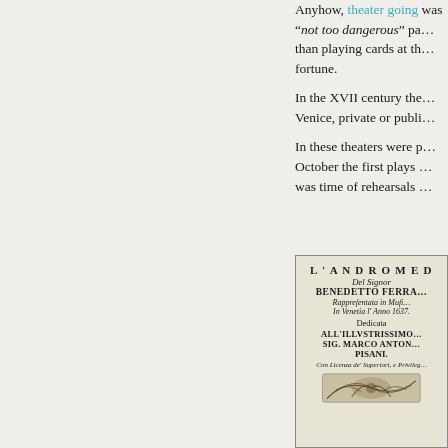Anyhow, theater going was "not too dangerous" particularly than playing cards at the fortune.
In the XVII century the Venice, private or publi...
In these theaters were p... October the first plays ... was time of rehearsals ...
[Figure (illustration): Title page of L'Andromeda by Benedetto Ferrari, performed in music in Venice 1637. Dedicated to All'Illustrissimo Sig. Marco Antonio Pisani. Con Licenza de' Superiori, e Privileg... With ornamental woodcut illustration at the bottom.]